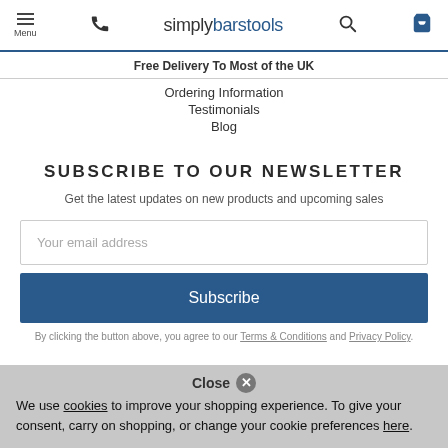simplybar stools — Menu, phone, search, cart
Free Delivery To Most of the UK
Ordering Information
Testimonials
Blog
SUBSCRIBE TO OUR NEWSLETTER
Get the latest updates on new products and upcoming sales
Your email address
Subscribe
By clicking the button above, you agree to our Terms & Conditions and Privacy Policy.
Close  We use cookies to improve your shopping experience. To give your consent, carry on shopping, or change your cookie preferences here.